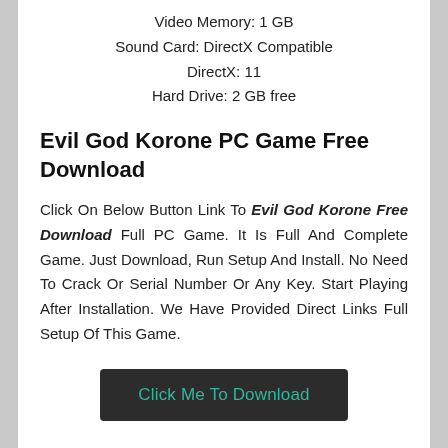Video Memory: 1 GB
Sound Card: DirectX Compatible
DirectX: 11
Hard Drive: 2 GB free
Evil God Korone PC Game Free Download
Click On Below Button Link To Evil God Korone Free Download Full PC Game. It Is Full And Complete Game. Just Download, Run Setup And Install. No Need To Crack Or Serial Number Or Any Key. Start Playing After Installation. We Have Provided Direct Links Full Setup Of This Game.
Click Me To Download